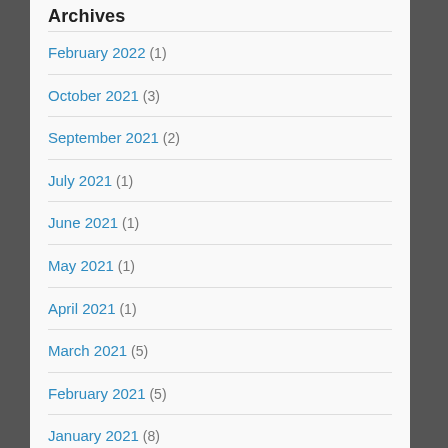Archives
February 2022 (1)
October 2021 (3)
September 2021 (2)
July 2021 (1)
June 2021 (1)
May 2021 (1)
April 2021 (1)
March 2021 (5)
February 2021 (5)
January 2021 (8)